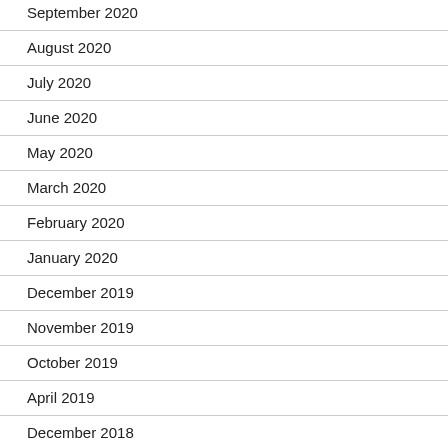September 2020
August 2020
July 2020
June 2020
May 2020
March 2020
February 2020
January 2020
December 2019
November 2019
October 2019
April 2019
December 2018
July 2018